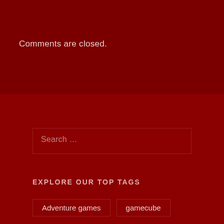Comments are closed.
Search …
EXPLORE OUR TOP TAGS
Adventure games
gamecube